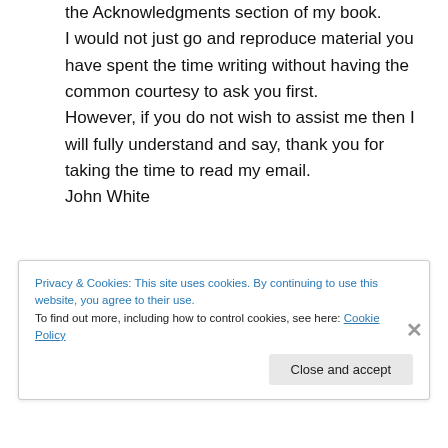the Acknowledgments section of my book.
I would not just go and reproduce material you have spent the time writing without having the common courtesy to ask you first.
However, if you do not wish to assist me then I will fully understand and say, thank you for taking the time to read my email.
John White
↳ Reply
Privacy & Cookies: This site uses cookies. By continuing to use this website, you agree to their use.
To find out more, including how to control cookies, see here: Cookie Policy
Close and accept